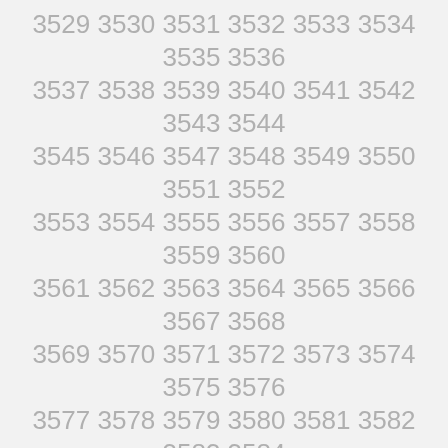3529 3530 3531 3532 3533 3534 3535 3536
3537 3538 3539 3540 3541 3542 3543 3544
3545 3546 3547 3548 3549 3550 3551 3552
3553 3554 3555 3556 3557 3558 3559 3560
3561 3562 3563 3564 3565 3566 3567 3568
3569 3570 3571 3572 3573 3574 3575 3576
3577 3578 3579 3580 3581 3582 3583 3584
3585 3586 3587 3588 3589 3590 3591 3592
3593 3594 3595 3596 3597 3598 3599 3600
3601 3602 3603 3604 3605 3606 3607 3608
3609 3610 3611 3612 3613 3614 3615 3616
3617 3618 3619 3620 3621 3622 3623 3624
3625 3626 3627 3628 3629 3630 3631 3632